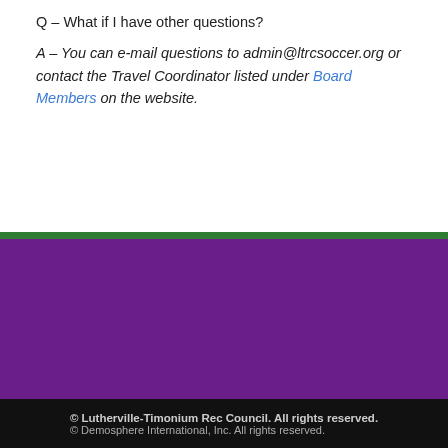Q – What if I have other questions?
A – You can e-mail questions to admin@ltrcsoccer.org or contact the Travel Coordinator listed under Board Members on the website.
[Figure (infographic): Purple footer section with three social media icons: Facebook, Twitter, and Instagram, displayed as white icons on purple square backgrounds, with a green horizontal bar separating the main content from this section.]
© Lutherville-Timonium Rec Council. All rights reserved.
© Demosphere International, Inc. All rights reserved.